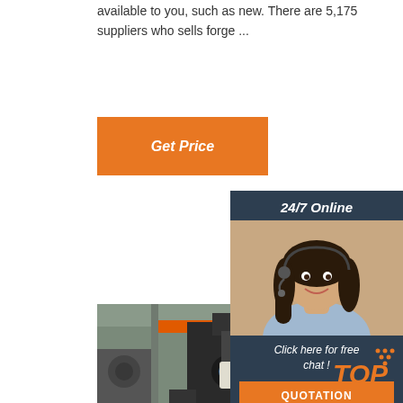available to you, such as new. There are 5,175 suppliers who sells forge ...
[Figure (other): Orange 'Get Price' button]
[Figure (other): 24/7 Online chat widget with customer service agent photo, 'Click here for free chat!' text, and orange QUOTATION button]
[Figure (photo): Industrial factory floor with large forging press machine, orange overhead crane beam, and blue machinery in the background]
[Figure (logo): Orange TOP badge/logo in bottom right corner]